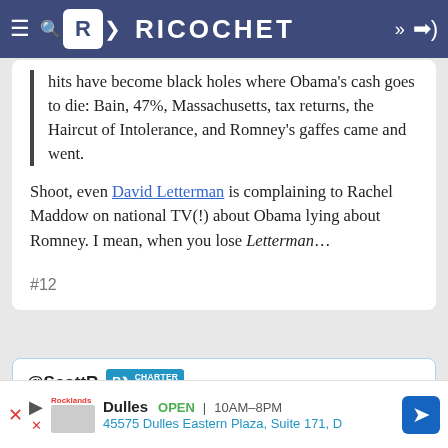RICOCHET
hits have become black holes where Obama's cash goes to die: Bain, 47%, Massachusetts, tax returns, the Haircut of Intolerance, and Romney's gaffes came and went.
Shoot, even David Letterman is complaining to Rachel Maddow on national TV(!) about Obama lying about Romney. I mean, when you lose Letterman…
#12
@ScottR · CHARTER MEMBER · 7:11 AM PDT · Oct 25, 2012
I still very much worry about this crazy state of OH.
Dulles OPEN 10AM–8PM · 45575 Dulles Eastern Plaza, Suite 171, D